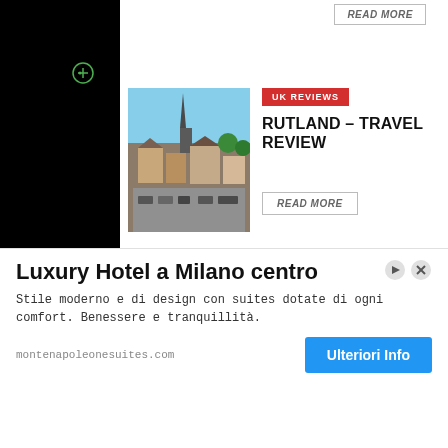[Figure (photo): Black left sidebar with dashed line, contact text, copyright]
READ MORE
[Figure (photo): Aerial photo of Rutland town with church spire and market square]
UK REVIEWS
RUTLAND – TRAVEL REVIEW
READ MORE
[Figure (photo): Tropical beach photo with palm tree and turquoise water - Varadero Cuba]
TRAVEL REVIEWS
VARADERO, CUBA – TRAVEL REVIEW
READ MORE
[Figure (photo): Film/movie scene with woman's face, moody lighting]
FILM REVIEWS
CONTACT
© C
Luxury Hotel a Milano centro
Stile moderno e di design con suites dotate di ogni comfort. Benessere e tranquillità.
montenapoleonesuites.com
Ulteriori Info